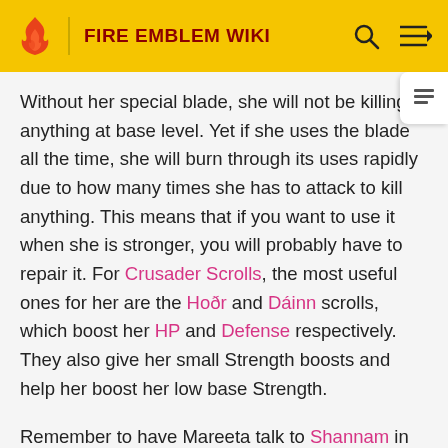FIRE EMBLEM WIKI
Without her special blade, she will not be killing anything at base level. Yet if she uses the blade all the time, she will burn through its uses rapidly due to how many times she has to attack to kill anything. This means that if you want to use it when she is stronger, you will probably have to repair it. For Crusader Scrolls, the most useful ones for her are the Hoðr and Dáinn scrolls, which boost her HP and Defense respectively. They also give her small Strength boosts and help her boost her low base Strength.
Remember to have Mareeta talk to Shannam in Chapter 15 to have her learn Astra.
Fire Emblem Awakening